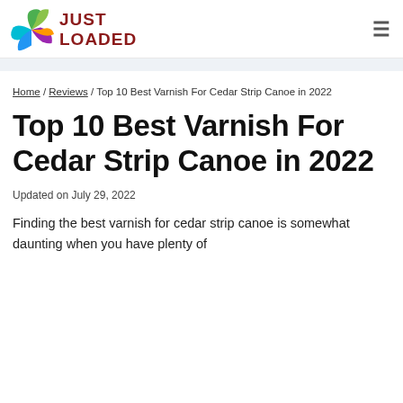JUST LOADED
Home / Reviews / Top 10 Best Varnish For Cedar Strip Canoe in 2022
Top 10 Best Varnish For Cedar Strip Canoe in 2022
Updated on July 29, 2022
Finding the best varnish for cedar strip canoe is somewhat daunting when you have plenty of